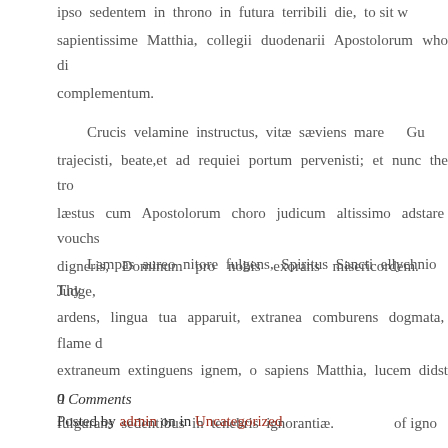ipso sedentem in throno in futura terribili die, to sit w sapientissime Matthia, collegii duodenarii Apostolorum who di complementum.
Crucis velamine instructus, vitæ sæviens mare Gu trajecisti, beate,et ad requiei portum pervenisti; et nunc the tro læstus cum Apostolorum choro judicum altissimo adstare vouchs digneris, Dominum pro nobis exorans misericordem. Judge,
Lampas aureo nitore fulgens, Spiritus Sancti ellychnio Thy ardens, lingua tua apparuit, extranea comburens dogmata, flame extraneum extinguens ignem, o sapiens Matthia, lucem didst q fulgurans sedentibus in tenebris ignorantiæ. of igno
0 Comments
Posted by admin on in Uncategorized
Comments are closed.